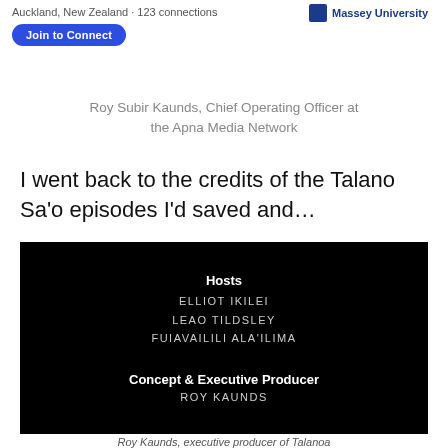Auckland, New Zealand · 123 connections
Join to Connect
Massey University
Roy Subir Kaunds, Chief Operating Officer at the Apna Media Network
I went back to the credits of the Talano Sa'o episodes I'd saved and...
[Figure (screenshot): Black screen showing TV show credits. Under 'Hosts': ELLIOT IKILEI, LEAO TILDSLEY, FUIAVAILILI ALA'ILIMA. Under 'Concept & Executive Producer': ROY KAUNDS.]
Roy Kaunds, executive producer of Talanoa